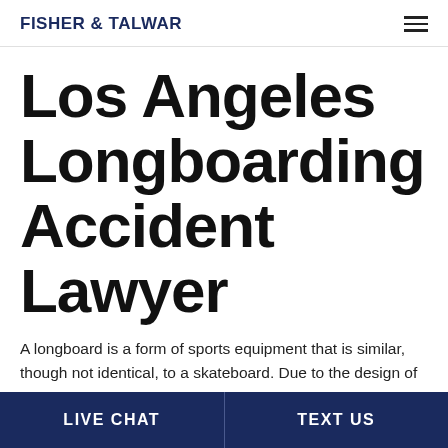FISHER & TALWAR
Los Angeles Longboarding Accident Lawyer
A longboard is a form of sports equipment that is similar, though not identical, to a skateboard. Due to the design of
LIVE CHAT | TEXT US